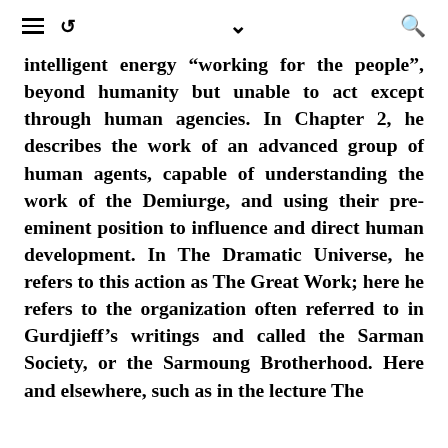[navigation icons: hamburger menu, retweet icon, chevron, search icon]
intelligent energy “working for the people”, beyond humanity but unable to act except through human agencies. In Chapter 2, he describes the work of an advanced group of human agents, capable of understanding the work of the Demiurge, and using their pre-eminent position to influence and direct human development. In The Dramatic Universe, he refers to this action as The Great Work; here he refers to the organization often referred to in Gurdjieff’s writings and called the Sarman Society, or the Sarmoung Brotherhood. Here and elsewhere, such as in the lecture The